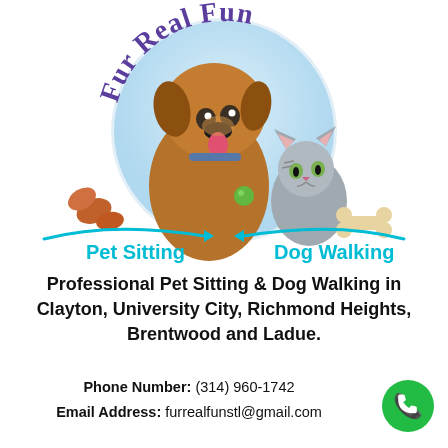[Figure (logo): Fur Real Fun pet sitting and dog walking logo with illustrated dog and cat inside a circular frame, 'Pet Sitting' and 'Dog Walking' text in cyan, decorative pet treats around the circle, and 'Fur Real Fun' in purple arc text at top.]
Professional Pet Sitting & Dog Walking in Clayton, University City, Richmond Heights, Brentwood and Ladue.
Phone Number: (314) 960-1742
Email Address: furrealfunstl@gmail.com
[Figure (illustration): Green circle with white phone handset icon]